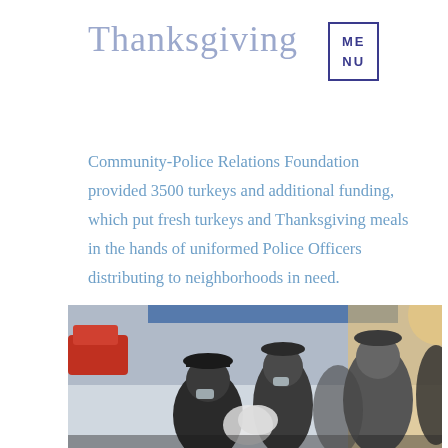Thanksgiving
Community-Police Relations Foundation provided 3500 turkeys and additional funding, which put fresh turkeys and Thanksgiving meals in the hands of uniformed Police Officers distributing to neighborhoods in need.
More
[Figure (photo): Police officers in uniform wearing masks distributing Thanksgiving turkeys and meals to community members outdoors, with a red car visible in background and bright sunlight]